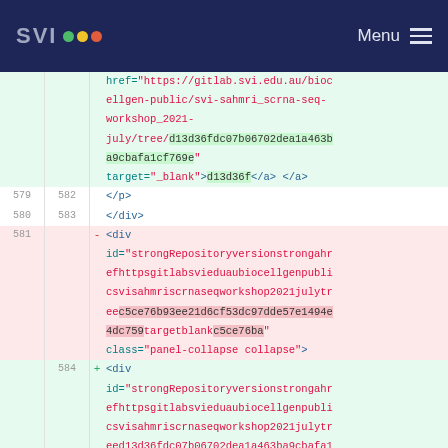SVI Menu
href="https://gitlab.svi.edu.au/biocellgen-public/svi-sahmri_scrna-seq-workshop_2021-july/tree/d13d36fdc07b06702dea1a463ba9cbafa1cf769e" target="_blank">d13d36f</a> </a>
579 582 </p>
580 583 </div>
581 - <div id="strongRepositoryversionstrongahrefhttpsgitlabsvieduaubiocellgenpublicsvisahmriscrnaseqworkshop2021julytreec5ce76b93ee21d6cf53dc97dde57e1494e4dc759targetblankc5ce76ba" class="panel-collapse collapse">
584 + <div id="strongRepositoryversionstrongahrefhttpsgitlabsvieduaubiocellgenpublicsvisahmriscrnaseqworkshop2021julytreed13d36fdc07b06702dea1a463ba9cbafa1